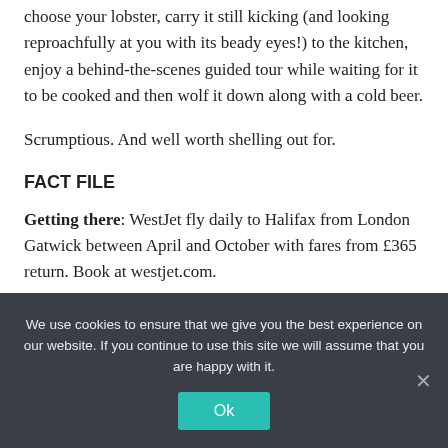choose your lobster, carry it still kicking (and looking reproachfully at you with its beady eyes!) to the kitchen, enjoy a behind-the-scenes guided tour while waiting for it to be cooked and then wolf it down along with a cold beer.
Scrumptious. And well worth shelling out for.
FACT FILE
Getting there: WestJet fly daily to Halifax from London Gatwick between April and October with fares from £365 return. Book at westjet.com.
We use cookies to ensure that we give you the best experience on our website. If you continue to use this site we will assume that you are happy with it.